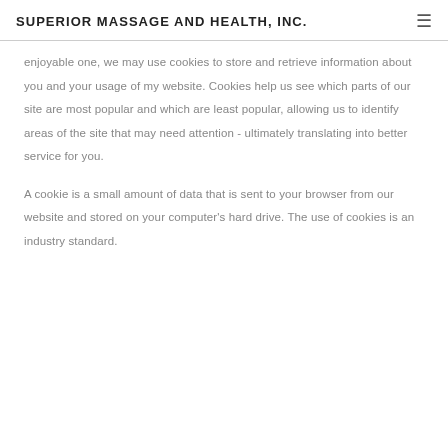SUPERIOR MASSAGE AND HEALTH, INC.
enjoyable one, we may use cookies to store and retrieve information about you and your usage of my website. Cookies help us see which parts of our site are most popular and which are least popular, allowing us to identify areas of the site that may need attention - ultimately translating into better service for you.
A cookie is a small amount of data that is sent to your browser from our website and stored on your computer's hard drive. The use of cookies is an industry standard.